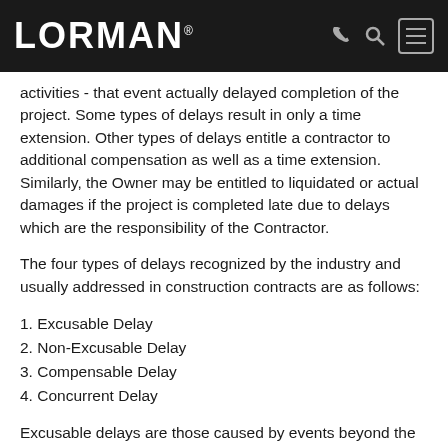LORMAN
activities - that event actually delayed completion of the project. Some types of delays result in only a time extension. Other types of delays entitle a contractor to additional compensation as well as a time extension. Similarly, the Owner may be entitled to liquidated or actual damages if the project is completed late due to delays which are the responsibility of the Contractor.
The four types of delays recognized by the industry and usually addressed in construction contracts are as follows:
1. Excusable Delay
2. Non-Excusable Delay
3. Compensable Delay
4. Concurrent Delay
Excusable delays are those caused by events beyond the control of the Owner and Contractor. Typical examples include fire, flood, acts of nature, and sometimes the